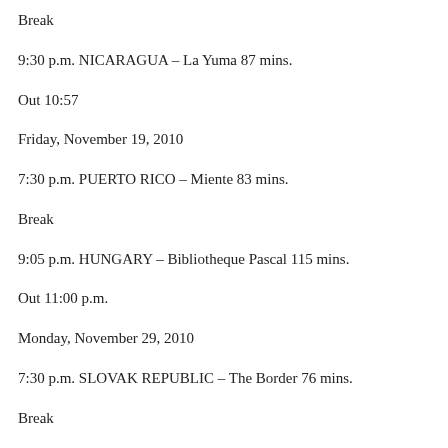Break
9:30 p.m. NICARAGUA – La Yuma 87 mins.
Out 10:57
Friday, November 19, 2010
7:30 p.m. PUERTO RICO – Miente 83 mins.
Break
9:05 p.m. HUNGARY – Bibliotheque Pascal 115 mins.
Out 11:00 p.m.
Monday, November 29, 2010
7:30 p.m. SLOVAK REPUBLIC – The Border 76 mins.
Break
9:00 p.m. EGYPT – Man starts from the Sea 123 mins.